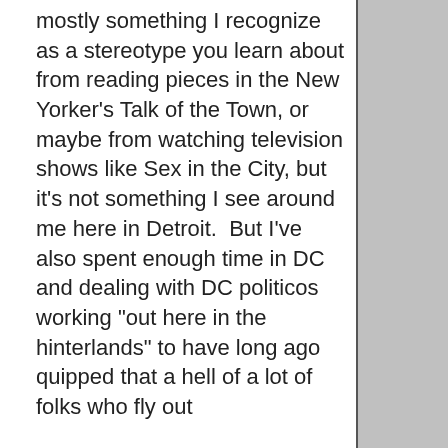mostly something I recognize as a stereotype you learn about from reading pieces in the New Yorker's Talk of the Town, or maybe from watching television shows like Sex in the City, but it's not something I see around me here in Detroit.  But I've also spent enough time in DC and dealing with DC politicos working "out here in the hinterlands" to have long ago quipped that a hell of a lot of folks who fly out